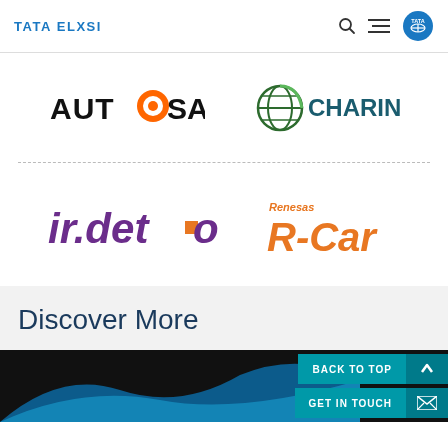TATA ELXSI
[Figure (logo): AUTOSAR logo in black bold text with orange circle as the letter O]
[Figure (logo): CHAdeMO/CHARIN logo with green and dark globe icon and CHARIN text in dark teal]
[Figure (logo): irdeto logo in purple stylized text]
[Figure (logo): Renesas R-Car logo in orange text]
Discover More